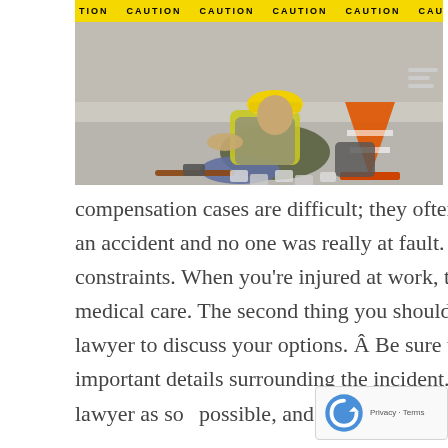[Figure (photo): A construction worker in a yellow safety vest and hard hat sits injured on the ground at a construction site. Caution tape is visible across the top. An orange traffic cone is nearby, along with scattered tools and a hammer on the concrete floor.]
compensation cases are difficult; they often pit you against your employer, even when it was an accident and no one was really at fault. On top of that, they are controlled by strict time constraints. When you're injured at work, the first thing you should do is receive immediate medical care. The second thing you should do is contact a local, knowledgeable workers' comp lawyer to discuss your options. Â Be sure to record the date, time, place, witnesses, and other important details surrounding the incident. It is of utmost importance you get in contact with a lawyer as soc possible, and here are three reasons why: